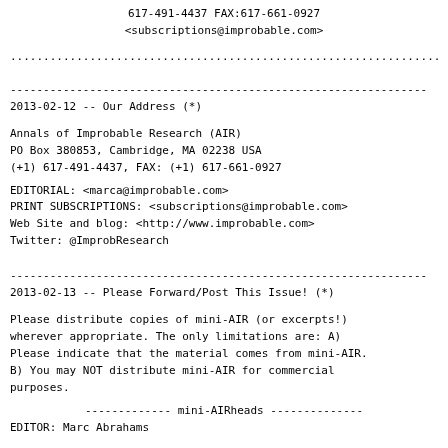617-491-4437 FAX:617-661-0927
<subscriptions@improbable.com>
...............................................................
---------------------------------------------------------------
2013-02-12 -- Our Address (*)
Annals of Improbable Research (AIR)
PO Box 380853, Cambridge, MA 02238 USA
(+1) 617-491-4437, FAX: (+1) 617-661-0927
EDITORIAL: <marca@improbable.com>
PRINT SUBSCRIPTIONS: <subscriptions@improbable.com>
Web Site and blog: <http://www.improbable.com>
Twitter: @ImprobResearch
---------------------------------------------------------------
2013-02-13 -- Please Forward/Post This Issue! (*)
Please distribute copies of mini-AIR (or excerpts!)
wherever appropriate. The only limitations are: A)
Please indicate that the material comes from mini-AIR.
B) You may NOT distribute mini-AIR for commercial
purposes.
------------- mini-AIRheads --------------
EDITOR: Marc Abrahams